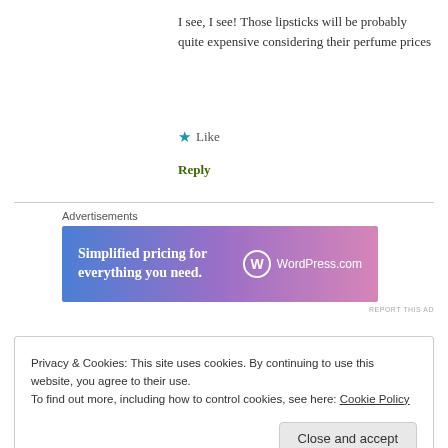I see, I see! Those lipsticks will be probably quite expensive considering their perfume prices
★ Like
Reply
Advertisements
[Figure (other): WordPress.com advertisement banner with gradient blue-pink background. Text: 'Simplified pricing for everything you need.' with WordPress.com logo.]
REPORT THIS AD
Privacy & Cookies: This site uses cookies. By continuing to use this website, you agree to their use.
To find out more, including how to control cookies, see here: Cookie Policy
Close and accept